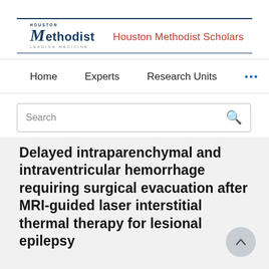Houston Methodist | Houston Methodist Scholars
Home   Experts   Research Units   ...
Search
Delayed intraparenchymal and intraventricular hemorrhage requiring surgical evacuation after MRI-guided laser interstitial thermal therapy for lesional epilepsy